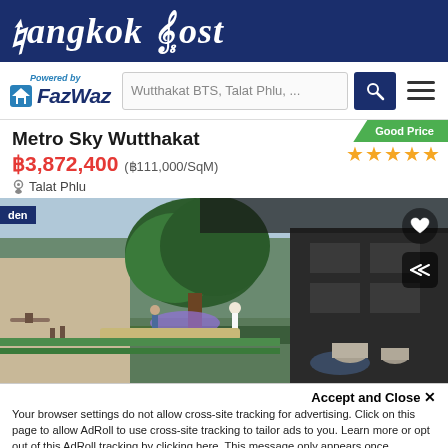Bangkok Post
[Figure (logo): FazWaz logo with Powered by text and house icon]
Wutthakat BTS, Talat Phlu, ...
Metro Sky Wutthakat
฿3,872,400 (฿111,000/SqM)
Talat Phlu
[Figure (photo): Rooftop garden rendering of Metro Sky Wutthakat condominium showing trees, green landscaping, and modern outdoor seating area]
Accept and Close ✕
Your browser settings do not allow cross-site tracking for advertising. Click on this page to allow AdRoll to use cross-site tracking to tailor ads to you. Learn more or opt out of this AdRoll tracking by clicking here. This message only appears once.